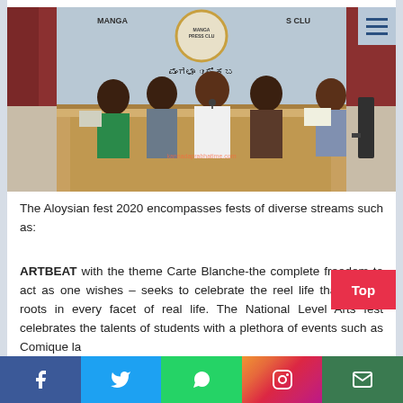[Figure (photo): Press conference at Mangalore Press Club. Five people seated at a long wooden desk/podium. One person in white speaks into a microphone at center. Others include a woman in a green sari, a young man with ID card, and two men in shirts. A round emblem and Kannada text banner visible on the wall behind them.]
The Aloysian fest 2020 encompasses fests of diverse streams such as:
ARTBEAT with the theme Carte Blanche-the complete freedom to act as one wishes – seeks to celebrate the reel life that has its roots in every facet of real life. The National Level Arts fest celebrates the talents of students with a plethora of events such as Comique la...